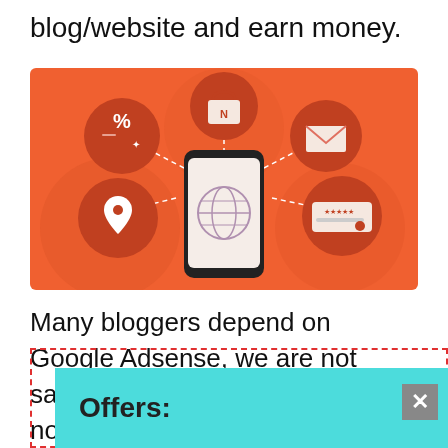blog/website and earn money.
[Figure (illustration): Orange background illustration of a smartphone with a globe icon on screen, surrounded by circular icons: a percent/tag icon, a shopping bag icon, an envelope/mail icon, a location pin icon, and a star rating/keyboard icon. Dashed lines connect the phone to the surrounding icons.]
Many bloggers depend on Google Adsense, we are not saying that Google Adsense is not good, but if you want to make $100/month from [popup obscures] traffic [popup obscures]
Offers: